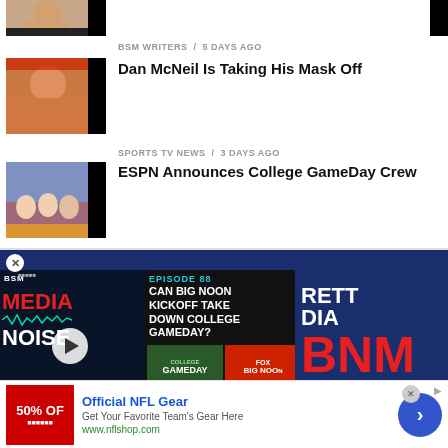[Figure (photo): Partial thumbnail of a person at top of page]
BSM WRITERS / 5 days ago
Dan McNeil Is Taking His Mask Off
[Figure (photo): Thumbnail of man in red visor with headphones]
SPORTS TV NEWS / 3 days ago
ESPN Announces College GameDay Crew
[Figure (photo): Thumbnail of ESPN College GameDay crew]
[Figure (screenshot): BSM Media Noise podcast player - Episode 88: Can Big Noon Kickoff Take Down College GameDay? with BNM branding]
[Figure (other): Advertisement for Official NFL Gear - Get Your Favorite Team's Gear Here - www.nflshop.com - 50% OFF]